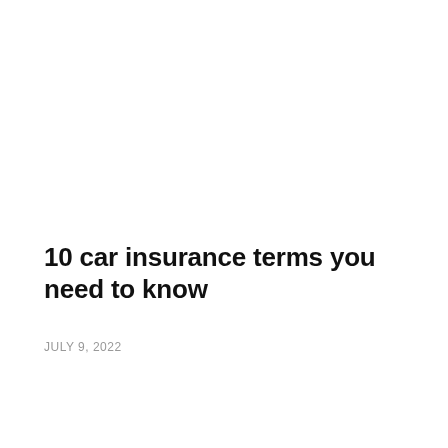10 car insurance terms you need to know
JULY 9, 2022